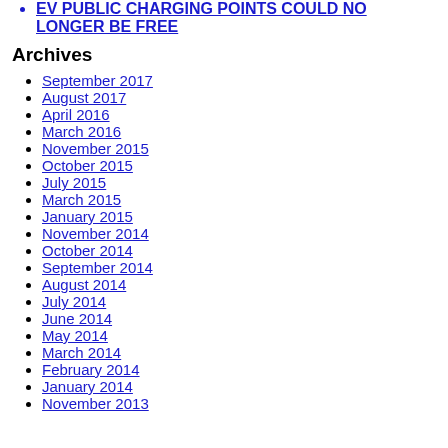EV PUBLIC CHARGING POINTS COULD NO LONGER BE FREE
Archives
September 2017
August 2017
April 2016
March 2016
November 2015
October 2015
July 2015
March 2015
January 2015
November 2014
October 2014
September 2014
August 2014
July 2014
June 2014
May 2014
March 2014
February 2014
January 2014
November 2013